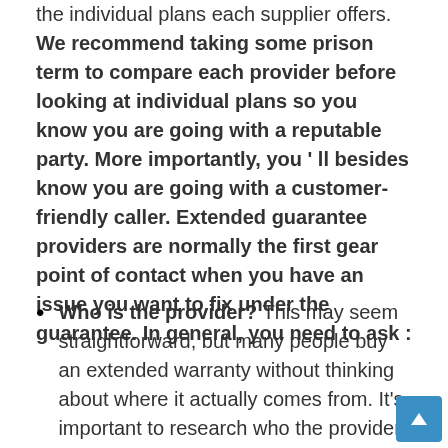the individual plans each supplier offers. We recommend taking some prison term to compare each provider before looking at individual plans so you know you are going with a reputable party. More importantly, you ' ll besides know you are going with a customer-friendly caller. Extended guarantee providers are normally the first gear point of contact when you have an issue you want to fix under the guarantee. In general, you need to ask :
Who is the provider? This may seem straightforward, but many people buy an extended warranty without thinking about where it actually comes from. It's important to research who the provider actually is. More importantly, you should know if you are buying the warranty from the